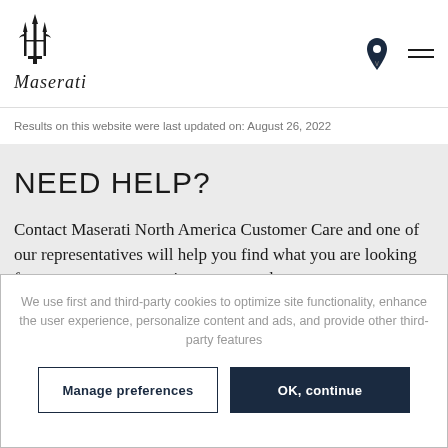[Figure (logo): Maserati trident logo and italic Maserati wordmark]
Results on this website were last updated on: August 26, 2022
NEED HELP?
Contact Maserati North America Customer Care and one of our representatives will help you find what you are looking for or answer any questions you may have:
Maserati North America, Inc.
We use first and third-party cookies to optimize site functionality, enhance the user experience, personalize content and ads, and provide other third-party features
Manage preferences
OK, continue